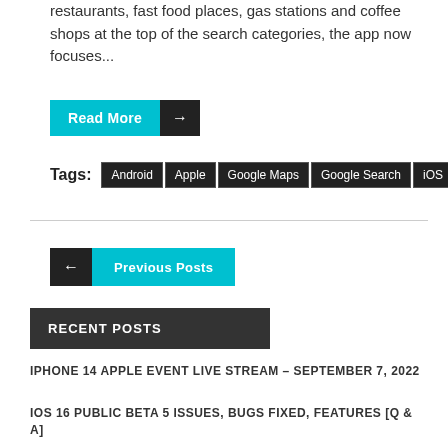restaurants, fast food places, gas stations and coffee shops at the top of the search categories, the app now focuses...
Read More →
Tags: Android Apple Google Maps Google Search iOS Maps Search
← Previous Posts
RECENT POSTS
IPHONE 14 APPLE EVENT LIVE STREAM – SEPTEMBER 7, 2022
IOS 16 PUBLIC BETA 5 ISSUES, BUGS FIXED, FEATURES [Q & A]